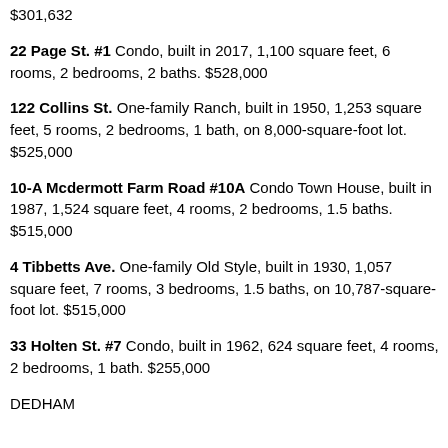$301,632
22 Page St. #1 Condo, built in 2017, 1,100 square feet, 6 rooms, 2 bedrooms, 2 baths. $528,000
122 Collins St. One-family Ranch, built in 1950, 1,253 square feet, 5 rooms, 2 bedrooms, 1 bath, on 8,000-square-foot lot. $525,000
10-A Mcdermott Farm Road #10A Condo Town House, built in 1987, 1,524 square feet, 4 rooms, 2 bedrooms, 1.5 baths. $515,000
4 Tibbetts Ave. One-family Old Style, built in 1930, 1,057 square feet, 7 rooms, 3 bedrooms, 1.5 baths, on 10,787-square-foot lot. $515,000
33 Holten St. #7 Condo, built in 1962, 624 square feet, 4 rooms, 2 bedrooms, 1 bath. $255,000
DEDHAM